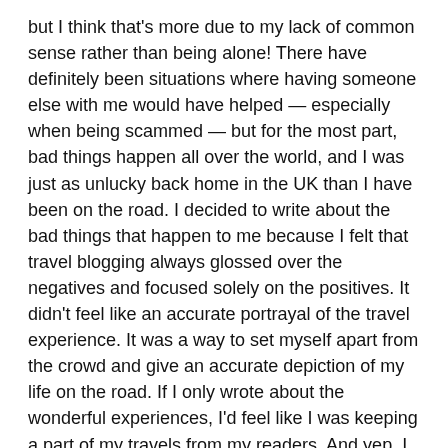but I think that's more due to my lack of common sense rather than being alone! There have definitely been situations where having someone else with me would have helped — especially when being scammed — but for the most part, bad things happen all over the world, and I was just as unlucky back home in the UK than I have been on the road. I decided to write about the bad things that happen to me because I felt that travel blogging always glossed over the negatives and focused solely on the positives. It didn't feel like an accurate portrayal of the travel experience. It was a way to set myself apart from the crowd and give an accurate depiction of my life on the road. If I only wrote about the wonderful experiences, I'd feel like I was keeping a part of my travels from my readers. And yep, I think I'm an accident magnet, but it has worked out well for me!
8. Where do you feel at home?
I feel at home in places where I've based myself for a minimum of a month. London will always feel like home to me, but so does Chiang Mai, in Thailand, Granada, in Spain,